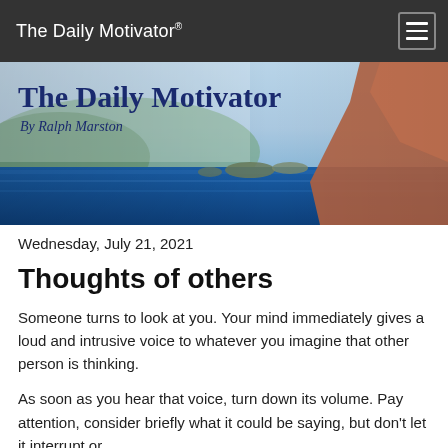The Daily Motivator®
[Figure (photo): Scenic coastal banner image with blue sea, rocky islands, and mountains in the background. Overlaid with 'The Daily Motivator' title and 'By Ralph Marston' subtitle in dark blue serif font.]
Wednesday, July 21, 2021
Thoughts of others
Someone turns to look at you. Your mind immediately gives a loud and intrusive voice to whatever you imagine that other person is thinking.
As soon as you hear that voice, turn down its volume. Pay attention, consider briefly what it could be saying, but don't let it interrupt or